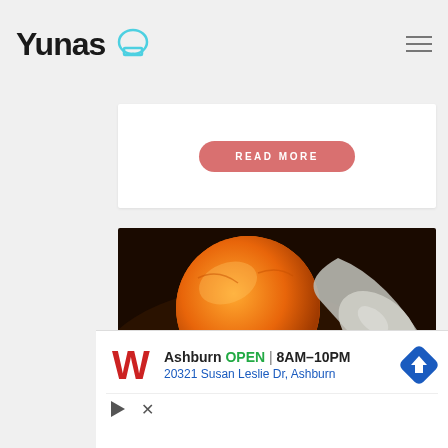Yunas [chef hat icon]
[Figure (screenshot): READ MORE button (salmon/coral rounded pill button) on white card background]
[Figure (photo): Close-up photo of an orange citrus fruit being scooped with a silver spoon, dark background]
[Figure (infographic): Walgreens advertisement banner showing: Ashburn OPEN 8AM-10PM, 20321 Susan Leslie Dr, Ashburn, with Walgreens W logo and blue navigation arrow icon]